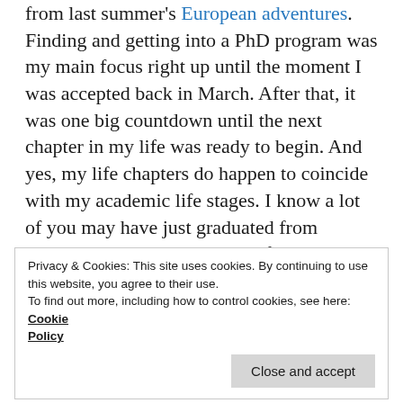I've been preparing for this move and getting back from last summer's European adventures. Finding and getting into a PhD program was my main focus right up until the moment I was accepted back in March. After that, it was one big countdown until the next chapter in my life was ready to begin. And yes, my life chapters do happen to coincide with my academic life stages. I know a lot of you may have just graduated from undergrad, and it's about time for the great grad student migration. Hopefully, since I made the move a little sooner than most, I can fill you in on what I've found to be most helpful during my transition. I started with a little
Privacy & Cookies: This site uses cookies. By continuing to use this website, you agree to their use. To find out more, including how to control cookies, see here: Cookie Policy